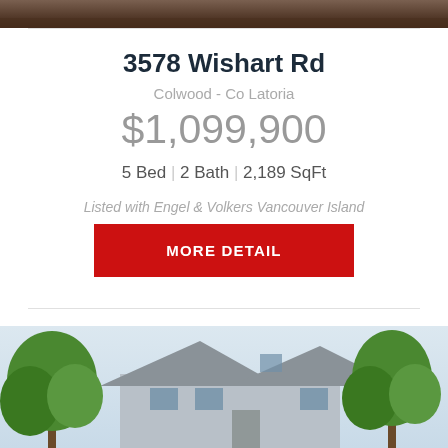[Figure (photo): Top portion of a property exterior photo showing trees/landscape]
3578 Wishart Rd
Colwood - Co Latoria
$1,099,900
5 Bed | 2 Bath | 2,189 SqFt
Listed with Engel & Volkers Vancouver Island
MORE DETAIL
[Figure (photo): Bottom portion showing a grey two-storey house exterior with green trees]